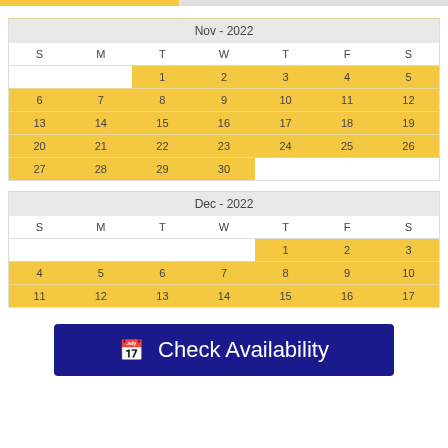| S | M | T | W | T | F | S |
| --- | --- | --- | --- | --- | --- | --- |
|  |  | 1 | 2 | 3 | 4 | 5 |
| 6 | 7 | 8 | 9 | 10 | 11 | 12 |
| 13 | 14 | 15 | 16 | 17 | 18 | 19 |
| 20 | 21 | 22 | 23 | 24 | 25 | 26 |
| 27 | 28 | 29 | 30 |  |  |  |
| S | M | T | W | T | F | S |
| --- | --- | --- | --- | --- | --- | --- |
|  |  |  |  | 1 | 2 | 3 |
| 4 | 5 | 6 | 7 | 8 | 9 | 10 |
| 11 | 12 | 13 | 14 | 15 | 16 | 17 |
Check Availability